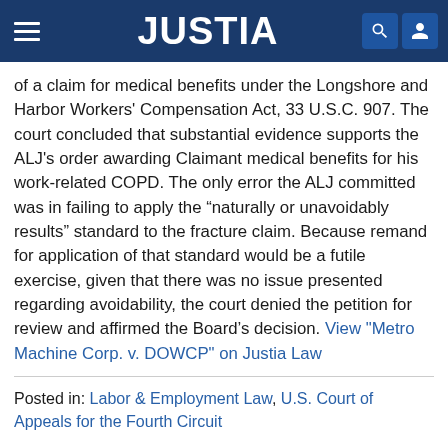JUSTIA
of a claim for medical benefits under the Longshore and Harbor Workers' Compensation Act, 33 U.S.C. 907. The court concluded that substantial evidence supports the ALJ's order awarding Claimant medical benefits for his work-related COPD. The only error the ALJ committed was in failing to apply the “naturally or unavoidably results” standard to the fracture claim. Because remand for application of that standard would be a futile exercise, given that there was no issue presented regarding avoidability, the court denied the petition for review and affirmed the Board's decision. View "Metro Machine Corp. v. DOWCP" on Justia Law
Posted in: Labor & Employment Law, U.S. Court of Appeals for the Fourth Circuit